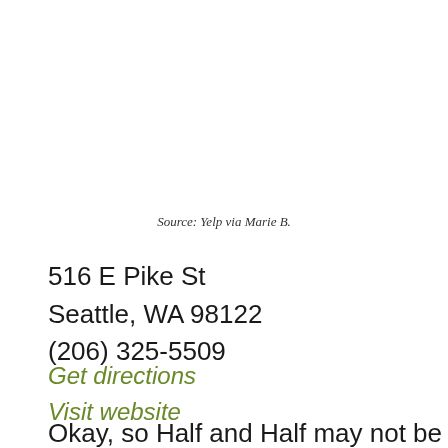Source: Yelp via Marie B.
516 E Pike St
Seattle, WA 98122
(206) 325-5509
Get directions
Visit website
Okay, so Half and Half may not be as